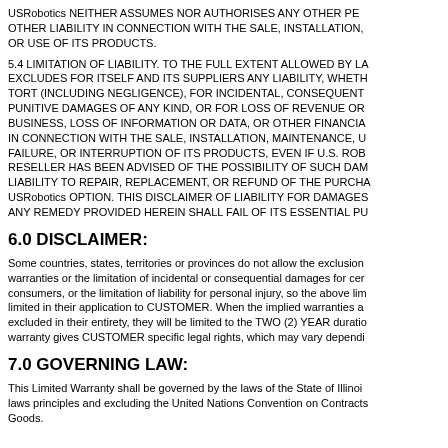USRobotics NEITHER ASSUMES NOR AUTHORISES ANY OTHER PE OTHER LIABILITY IN CONNECTION WITH THE SALE, INSTALLATION, OR USE OF ITS PRODUCTS.
5.4 LIMITATION OF LIABILITY. TO THE FULL EXTENT ALLOWED BY LA EXCLUDES FOR ITSELF AND ITS SUPPLIERS ANY LIABILITY, WHETH TORT (INCLUDING NEGLIGENCE), FOR INCIDENTAL, CONSEQUENT PUNITIVE DAMAGES OF ANY KIND, OR FOR LOSS OF REVENUE OR BUSINESS, LOSS OF INFORMATION OR DATA, OR OTHER FINANCIA IN CONNECTION WITH THE SALE, INSTALLATION, MAINTENANCE, U FAILURE, OR INTERRUPTION OF ITS PRODUCTS, EVEN IF U.S. ROB RESELLER HAS BEEN ADVISED OF THE POSSIBILITY OF SUCH DAM LIABILITY TO REPAIR, REPLACEMENT, OR REFUND OF THE PURCHA USRobotics OPTION. THIS DISCLAIMER OF LIABILITY FOR DAMAGES ANY REMEDY PROVIDED HEREIN SHALL FAIL OF ITS ESSENTIAL PU
6.0 DISCLAIMER:
Some countries, states, territories or provinces do not allow the exclusion warranties or the limitation of incidental or consequential damages for cer consumers, or the limitation of liability for personal injury, so the above lim limited in their application to CUSTOMER. When the implied warranties a excluded in their entirety, they will be limited to the TWO (2) YEAR duratio warranty gives CUSTOMER specific legal rights, which may vary dependi
7.0 GOVERNING LAW:
This Limited Warranty shall be governed by the laws of the State of Illinoi laws principles and excluding the United Nations Convention on Contracts Goods.